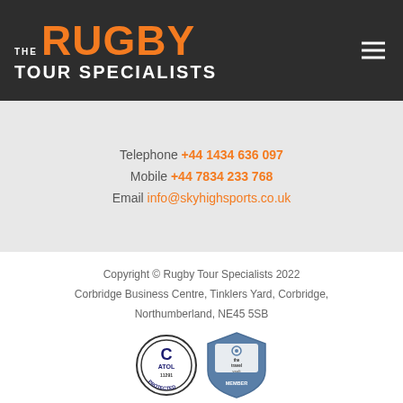[Figure (logo): The Rugby Tour Specialists logo: 'THE' in white stacked letters, 'RUGBY' in large orange bold text, 'TOUR SPECIALISTS' in white bold text below, on dark grey background. Hamburger menu icon top right.]
Telephone +44 1434 636 097
Mobile +44 7834 233 768
Email info@skyhighsports.co.uk
Copyright © Rugby Tour Specialists 2022
Corbridge Business Centre, Tinklers Yard, Corbridge,
Northumberland, NE45 5SB
[Figure (logo): ATOL Protected badge (number 11291) and The Travel Vault Member badge]